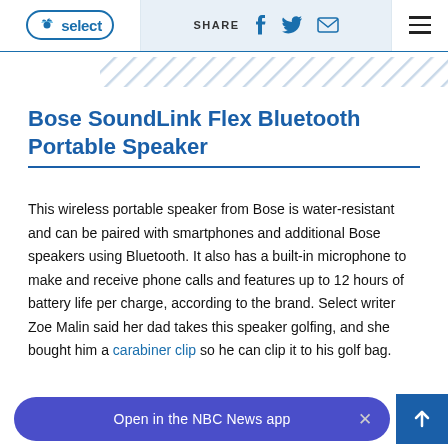NBC Select — SHARE [facebook] [twitter] [email] [menu]
[Figure (illustration): Diagonal stripe pattern band below header, light blue/white diagonal lines]
Bose SoundLink Flex Bluetooth Portable Speaker
This wireless portable speaker from Bose is water-resistant and can be paired with smartphones and additional Bose speakers using Bluetooth. It also has a built-in microphone to make and receive phone calls and features up to 12 hours of battery life per charge, according to the brand. Select writer Zoe Malin said her dad takes this speaker golfing, and she bought him a carabiner clip so he can clip it to his golf bag.
Open in the NBC News app  ×